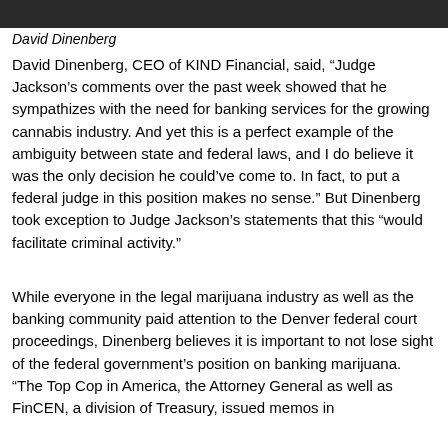[Figure (photo): Dark photo strip at top of page, partial image of a person]
David Dinenberg
David Dinenberg, CEO of KIND Financial, said, “Judge Jackson’s comments over the past week showed that he sympathizes with the need for banking services for the growing cannabis industry. And yet this is a perfect example of the ambiguity between state and federal laws, and I do believe it was the only decision he could’ve come to. In fact, to put a federal judge in this position makes no sense.” But Dinenberg took exception to Judge Jackson’s statements that this “would facilitate criminal activity.”
While everyone in the legal marijuana industry as well as the banking community paid attention to the Denver federal court proceedings, Dinenberg believes it is important to not lose sight of the federal government’s position on banking marijuana. “The Top Cop in America, the Attorney General as well as FinCEN, a division of Treasury, issued memos in 2013 and 2014 that provide clear outlines of how banks should